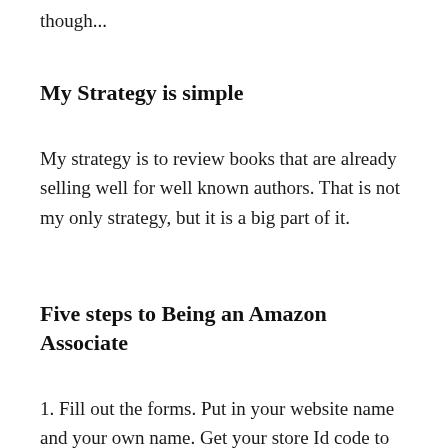though...
My Strategy is simple
My strategy is to review books that are already selling well for well known authors. That is not my only strategy, but it is a big part of it.
Five steps to Being an Amazon Associate
1. Fill out the forms. Put in your website name and your own name. Get your store Id code to put on your website. Use only alphabets and numbers, no hyphens etc.